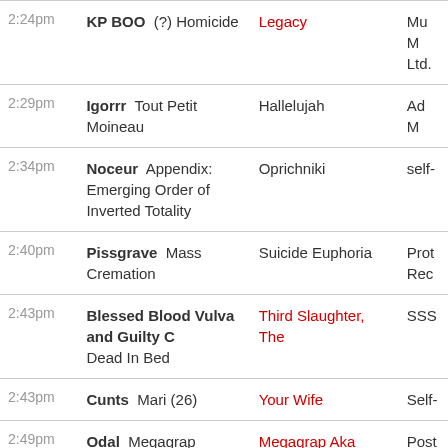| Time | Artist / Track | Album | Label |
| --- | --- | --- | --- |
| 2:24pm | KP BOO (?) Homicide | Legacy | Mu... Ltd... |
| 2:29pm | Igorrr Tout Petit Moineau | Hallelujah | Ad M... |
| 2:34pm | Noceur Appendix: Emerging Order of Inverted Totality | Oprichniki | self-... |
| 2:40pm | Pissgrave Mass Cremation | Suicide Euphoria | Pro... Rec... |
| 2:43pm | Blessed Blood Vulva and Guilty C Dead In Bed | Third Slaughter, The | SSS... |
| 2:43pm | Cunts Mari (26) | Your Wife | Self-... |
| 2:49pm | Odal Megagrap | Megagrap Aka Tape For Monopolka | Post... Mate... |